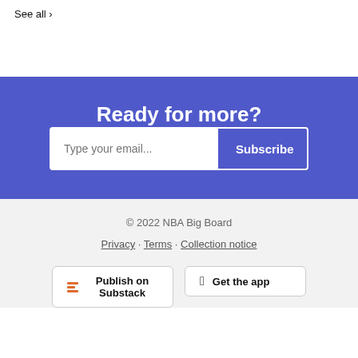See all ›
Ready for more?
Type your email... Subscribe
© 2022 NBA Big Board
Privacy · Terms · Collection notice
Publish on Substack
Get the app